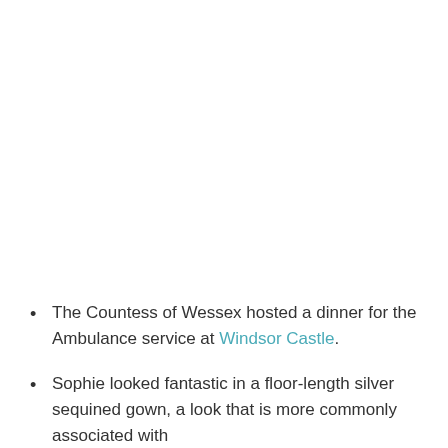The Countess of Wessex hosted a dinner for the Ambulance service at Windsor Castle.
Sophie looked fantastic in a floor-length silver sequined gown, a look that is more commonly associated with [text continues below]